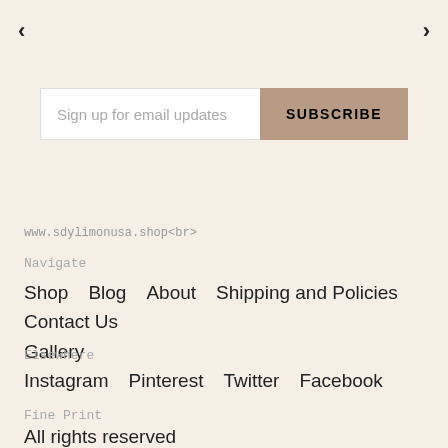‹
›
Sign up for email updates  SUBSCRIBE
www.sdylimonusa.shop<br>
Navigate
Shop   Blog   About   Shipping and Policies   Contact Us   Gallery
Elsewhere
Instagram   Pinterest   Twitter   Facebook
Fine Print
All rights reserved